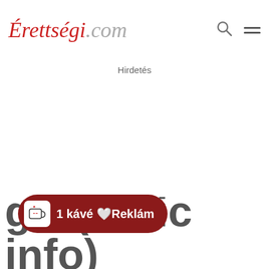Érettségi.com
Hirdetés
…g…(…sic info)